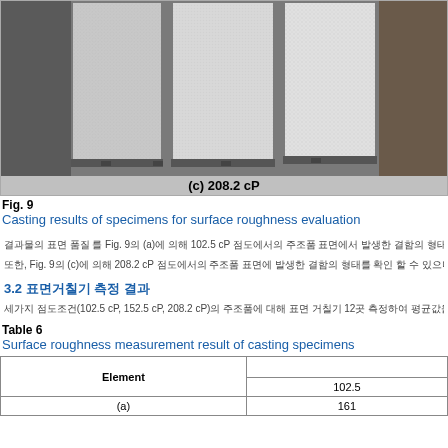[Figure (photo): Photograph of three casting specimens showing surface roughness results at 208.2 cP viscosity. Three metal slabs shown side by side.]
(c) 208.2 cP
Fig. 9
Casting results of specimens for surface roughness evaluation
결과물의 표면 품질 를 Fig. 9의 (a)에 의해 102.5 cP 점도에서의 주조품 표면에서 발생한 결함의 형태를 확인할 수 있으며 뿐만 아니라 표면에 심한 결함이 발생하였다
또한, Fig. 9의 (c)에 의해 208.2 cP 점도에서의 주조품 표면에 발생한 결함의 형태를 확인 할 수 있으며 표면 결함이 상당히 줄어든 것을 확인 할 수 있다.
3.2 표면거칠기 측정 결과
세가지 점도조건(102.5 cP, 152.5 cP, 208.2 cP)의 주조품에 대해 표면 거칠기 12곳 측정하여 평균값을 구하였으며 Tab
Table 6
Surface roughness measurement result of casting specimens
| Element | 102.5 |
| --- | --- |
| (a) | 161 |